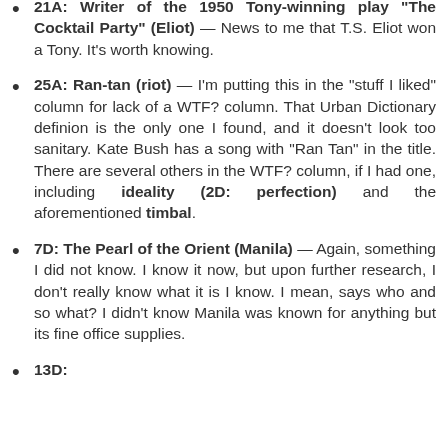21A: Writer of the 1950 Tony-winning play "The Cocktail Party" (Eliot) — News to me that T.S. Eliot won a Tony. It's worth knowing.
25A: Ran-tan (riot) — I'm putting this in the "stuff I liked" column for lack of a WTF? column. That Urban Dictionary definion is the only one I found, and it doesn't look too sanitary. Kate Bush has a song with "Ran Tan" in the title. There are several others in the WTF? column, if I had one, including ideality (2D: perfection) and the aforementioned timbal.
7D: The Pearl of the Orient (Manila) — Again, something I did not know. I know it now, but upon further research, I don't really know what it is I know. I mean, says who and so what? I didn't know Manila was known for anything but its fine office supplies.
13D: ...